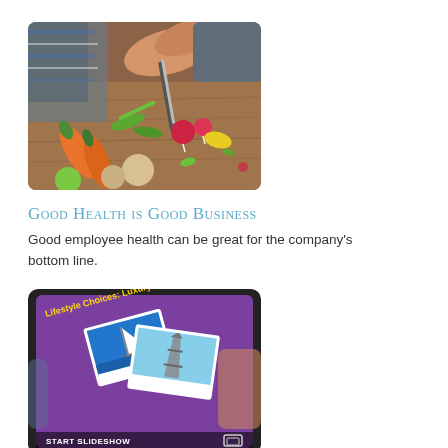[Figure (photo): Hands chopping vegetables on a wooden cutting board with carrots, radishes, and other vegetables]
Good Health is Good Business
Good employee health can be great for the company's bottom line.
[Figure (screenshot): Tablet showing a slideshow titled 'Lifestyle Choices: Luxury & Leisure' with photos of a sailboat and the Eiffel Tower, with START SLIDESHOW button at bottom]
Managing Your Lifestyle